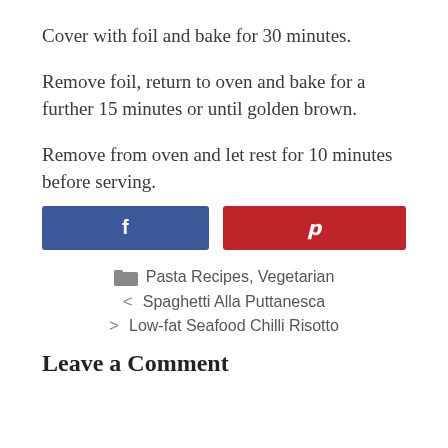Cover with foil and bake for 30 minutes.
Remove foil, return to oven and bake for a further 15 minutes or until golden brown.
Remove from oven and let rest for 10 minutes before serving.
[Figure (other): Facebook and Pinterest social share buttons]
Pasta Recipes, Vegetarian
< Spaghetti Alla Puttanesca
> Low-fat Seafood Chilli Risotto
Leave a Comment